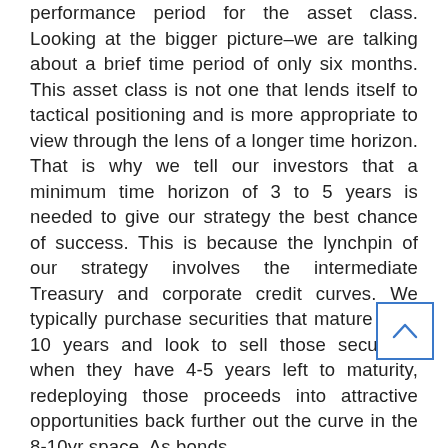performance period for the asset class. Looking at the bigger picture–we are talking about a brief time period of only six months. This asset class is not one that lends itself to tactical positioning and is more appropriate to view through the lens of a longer time horizon. That is why we tell our investors that a minimum time horizon of 3 to 5 years is needed to give our strategy the best chance of success. This is because the lynchpin of our strategy involves the intermediate Treasury and corporate credit curves. We typically purchase securities that mature in 8-10 years and look to sell those securities when they have 4-5 years left to maturity, redeploying those proceeds into attractive opportunities back further out the curve in the 8-10yr space. As bonds
[Figure (other): Scroll-up navigation button with caret/arrow icon, blue border]